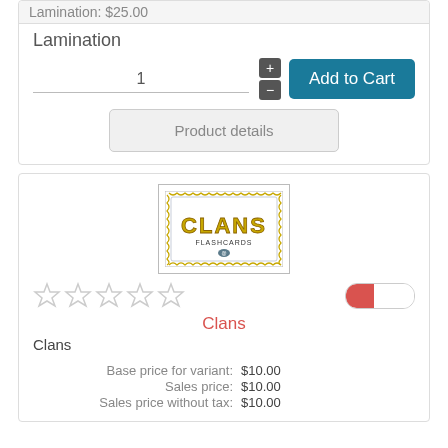Lamination: $25.00
Lamination
1
Add to Cart
Product details
[Figure (photo): Clans Flashcards product image with decorative border]
Clans
Clans
| Base price for variant: | $10.00 |
| Sales price: | $10.00 |
| Sales price without tax: | $10.00 |